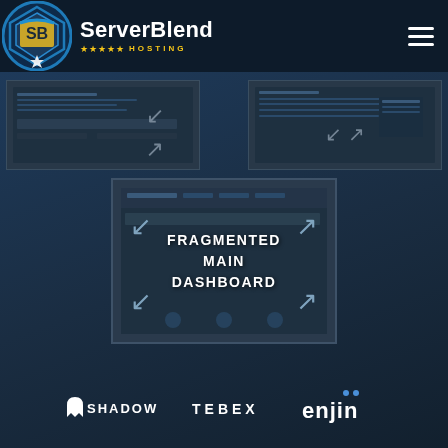[Figure (logo): ServerBlend Hosting logo with navigation bar showing hamburger menu]
[Figure (screenshot): Two fragmented dashboard thumbnails at top, and main fragmented dashboard panel labeled FRAGMENTED MAIN DASHBOARD with expand arrows]
[Figure (logo): Partner logos: Shadow, Tebex, Enjin]